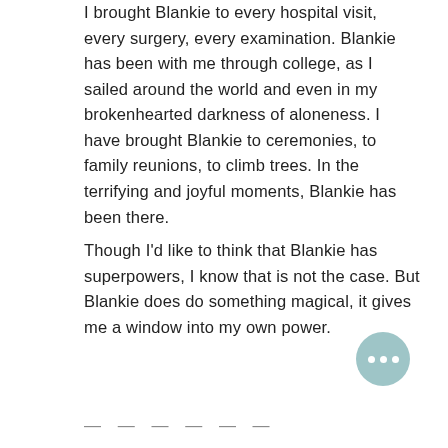I brought Blankie to every hospital visit, every surgery, every examination. Blankie has been with me through college, as I sailed around the world and even in my brokenhearted darkness of aloneness. I have brought Blankie to ceremonies, to family reunions, to climb trees. In the terrifying and joyful moments, Blankie has been there.
Though I'd like to think that Blankie has superpowers, I know that is not the case. But Blankie does do something magical, it gives me a window into my own power.